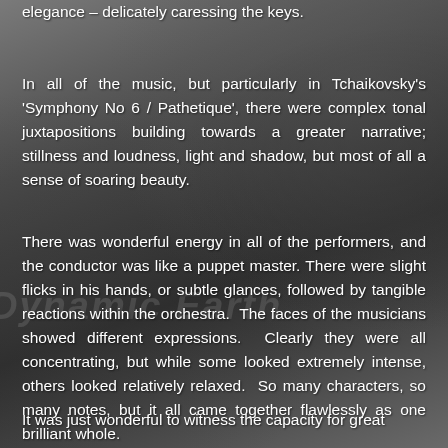elegance – delicately caressing the keys.
In all of the music, but particularly in Tchaikovsky's 'Symphony No 6 / Pathetique', there were complex tonal juxtapositions building towards a greater narrative; stillness and loudness, light and shadow, but most of all a sense of soaring beauty.
There was wonderful energy in all of the performers, and the conductor was like a puppet master. There were slight flicks in his hands, or subtle glances, followed by tangible reactions within the orchestra.  The faces of the musicians showed different expressions.  Clearly they were all concentrating, but while some looked extremely intense, others looked relatively relaxed.  So many characters, so many notes, but it all came together flawlessly as one brilliant whole.
It was just wonderful to witness the capacity for great